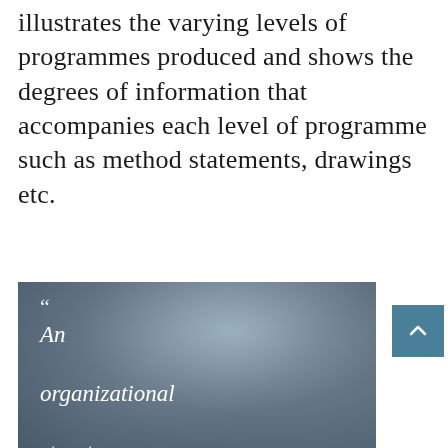illustrates the varying levels of programmes produced and shows the degrees of information that accompanies each level of programme such as method statements, drawings etc.
[Figure (photo): A photo of a person writing or drawing, with a dark overlay. Overlaid italic white text reads: “ An organizational structure]